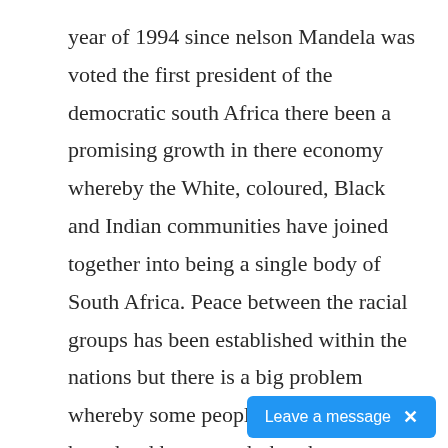year of 1994 since nelson Mandela was voted the first president of the democratic south Africa there been a promising growth in there economy whereby the White, coloured, Black and Indian communities have joined together into being a single body of South Africa. Peace between the racial groups has been established within the nations but there is a big problem whereby some people are found to have hard hearts such that they cannot find a reason to forgive and move on to live a life of freedom, a life without fear and hatred, a life w
[Figure (other): Blue chat widget button overlay reading 'Leave a message' with an X close button]